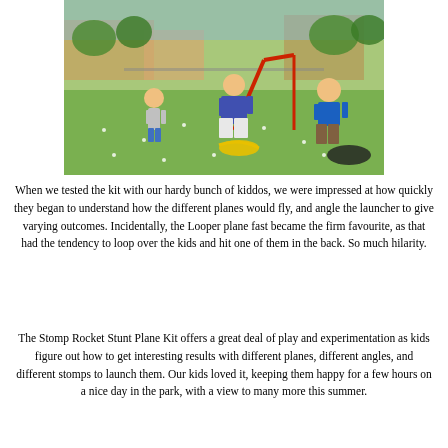[Figure (photo): Three children playing outdoors on a grassy field with wildflowers. A young toddler in grey hoodie and blue shorts on the left, a girl in a blue dress in the center, and a boy in a blue t-shirt and cargo shorts on the right. There is a red and yellow toy rocket launcher visible, and residential buildings and trees in the background.]
When we tested the kit with our hardy bunch of kiddos, we were impressed at how quickly they began to understand how the different planes would fly, and angle the launcher to give varying outcomes. Incidentally, the Looper plane fast became the firm favourite, as that had the tendency to loop over the kids and hit one of them in the back. So much hilarity.
The Stomp Rocket Stunt Plane Kit offers a great deal of play and experimentation as kids figure out how to get interesting results with different planes, different angles, and different stomps to launch them. Our kids loved it, keeping them happy for a few hours on a nice day in the park, with a view to many more this summer.